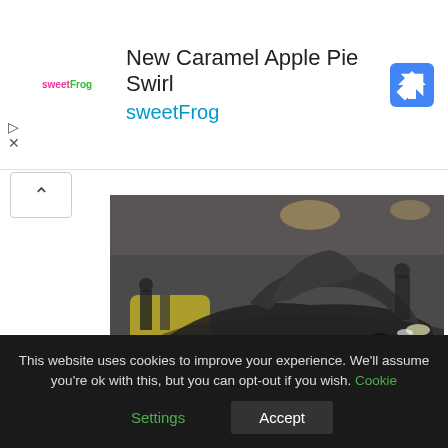[Figure (screenshot): Advertisement banner for sweetFrog 'New Caramel Apple Pie Swirl' with logo, text, and Google Maps navigation icon]
[Figure (photo): Black Lamborghini Aventador with scissor doors open at a car show, people in background]
The 5 most expensive celebrity cars ever
[Figure (photo): Row of colorful luxury cars parked, blurred background]
This website uses cookies to improve your experience. We'll assume you're ok with this, but you can opt-out if you wish. Cookie Settings Accept